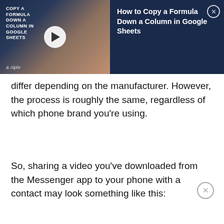[Figure (screenshot): Video banner ad for 'How to Copy a Formula Down a Column in Google Sheets' with thumbnail showing a woman at a laptop, play button, Alphr logo, title text, and a close (X) button]
differ depending on the manufacturer. However, the process is roughly the same, regardless of which phone brand you're using.
So, sharing a video you've downloaded from the Messenger app to your phone with a contact may look something like this: